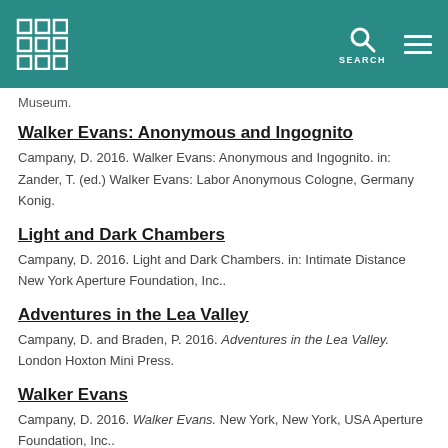Museum. [header bar with logo, search, menu]
Museum.
Walker Evans: Anonymous and Ingognito
Campany, D. 2016. Walker Evans: Anonymous and Ingognito. in: Zander, T. (ed.) Walker Evans: Labor Anonymous Cologne, Germany Konig.
Light and Dark Chambers
Campany, D. 2016. Light and Dark Chambers. in: Intimate Distance New York Aperture Foundation, Inc..
Adventures in the Lea Valley
Campany, D. and Braden, P. 2016. Adventures in the Lea Valley. London Hoxton Mini Press.
Walker Evans
Campany, D. 2016. Walker Evans. New York, New York, USA Aperture Foundation, Inc..
Photography as Rehearsal / Rehearsal as